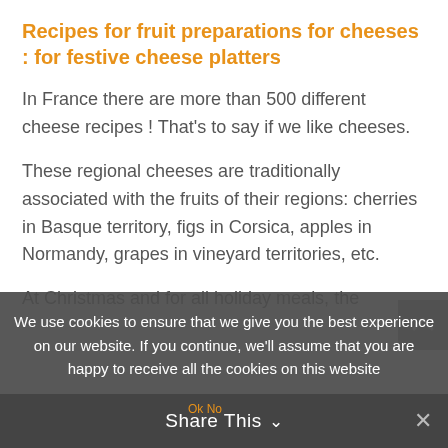Recipes for fruit preparations for cheeses : for festive cheese platters
In France there are more than 500 different cheese recipes ! That's to say if we like cheeses.
These regional cheeses are traditionally associated with the fruits of their regions: cherries in Basque territory, figs in Corsica, apples in Normandy, grapes in vineyard territories, etc.
At Christmas and for all holiday meals, the
We use cookies to ensure that we give you the best experience on our website. If you continue, we'll assume that you are happy to receive all the cookies on this website
Share This